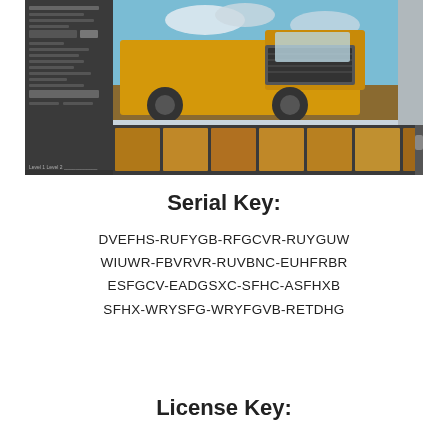[Figure (screenshot): Screenshot of a photo editing software showing a large yellow construction truck/loader as the main image, with a dark sidebar panel on the left containing controls and sliders, a histogram at the bottom left, a filmstrip of thumbnail images at the bottom, and a gray panel on the right.]
Serial Key:
DVEFHS-RUFYGB-RFGCVR-RUYGUW
WIUWR-FBVRVR-RUVBNC-EUHFRBR
ESFGCV-EADGSXC-SFHC-ASFHXB
SFHX-WRYSFG-WRYFGVB-RETDHG
License Key: